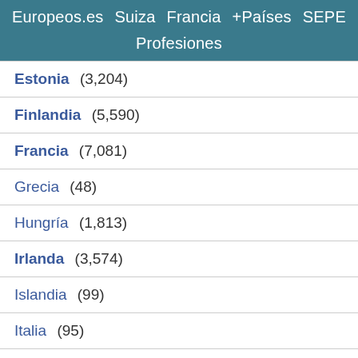Europeos.es  Suiza  Francia  +Países  SEPE  Profesiones
Estonia (3,204)
Finlandia (5,590)
Francia (7,081)
Grecia (48)
Hungría (1,813)
Irlanda (3,574)
Islandia (99)
Italia (95)
Letonia (75)
Liechtenstein (310)